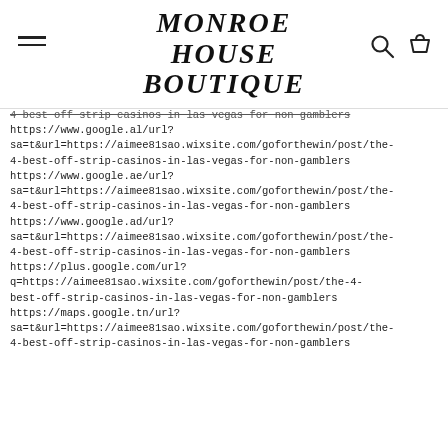MONROE HOUSE BOUTIQUE
4 best off strip casinos in las vegas for non gamblers
https://www.google.al/url?sa=t&url=https://aimee81sao.wixsite.com/goforthewin/post/the-4-best-off-strip-casinos-in-las-vegas-for-non-gamblers
https://www.google.ae/url?sa=t&url=https://aimee81sao.wixsite.com/goforthewin/post/the-4-best-off-strip-casinos-in-las-vegas-for-non-gamblers
https://www.google.ad/url?sa=t&url=https://aimee81sao.wixsite.com/goforthewin/post/the-4-best-off-strip-casinos-in-las-vegas-for-non-gamblers
https://plus.google.com/url?q=https://aimee81sao.wixsite.com/goforthewin/post/the-4-best-off-strip-casinos-in-las-vegas-for-non-gamblers
https://maps.google.tn/url?sa=t&url=https://aimee81sao.wixsite.com/goforthewin/post/the-4-best-off-strip-casinos-in-las-vegas-for-non-gamblers